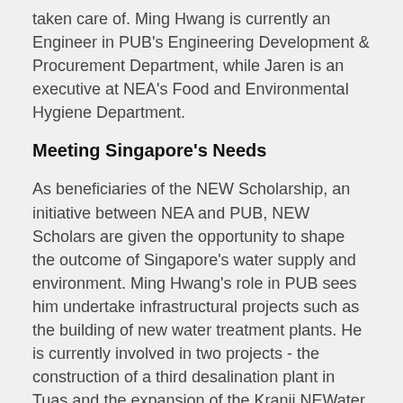taken care of. Ming Hwang is currently an Engineer in PUB's Engineering Development & Procurement Department, while Jaren is an executive at NEA's Food and Environmental Hygiene Department.
Meeting Singapore's Needs
As beneficiaries of the NEW Scholarship, an initiative between NEA and PUB, NEW Scholars are given the opportunity to shape the outcome of Singapore's water supply and environment. Ming Hwang's role in PUB sees him undertake infrastructural projects such as the building of new water treatment plants. He is currently involved in two projects - the construction of a third desalination plant in Tuas and the expansion of the Kranji NEWater Factory. "I even had the opportunity to travel to Australia to visit desalination plants and water treatment plants, in order to study good practices and understand the challenges faced there," Ming Hwang adds.
On Jaren's end, being in the Drinking Water Unit of NEA's Food and Environmental Hygiene Department, gives him a...